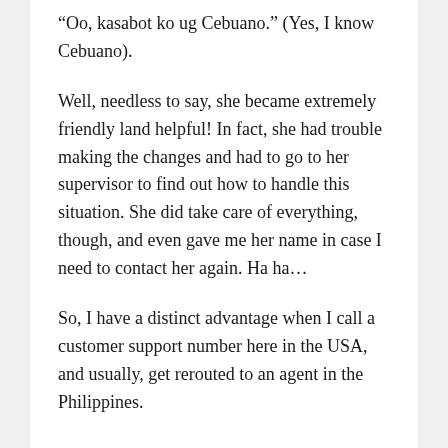“Oo, kasabot ko ug Cebuano.” (Yes, I know Cebuano).
Well, needless to say, she became extremely friendly land helpful! In fact, she had trouble making the changes and had to go to her supervisor to find out how to handle this situation. She did take care of everything, though, and even gave me her name in case I need to contact her again. Ha ha…
So, I have a distinct advantage when I call a customer support number here in the USA, and usually, get rerouted to an agent in the Philippines.